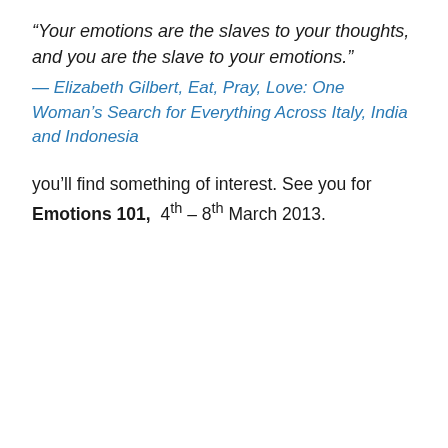“Your emotions are the slaves to your thoughts, and you are the slave to your emotions.”
— Elizabeth Gilbert, Eat, Pray, Love: One Woman’s Search for Everything Across Italy, India and Indonesia
you’ll find something of interest. See you for Emotions 101, 4th – 8th March 2013.